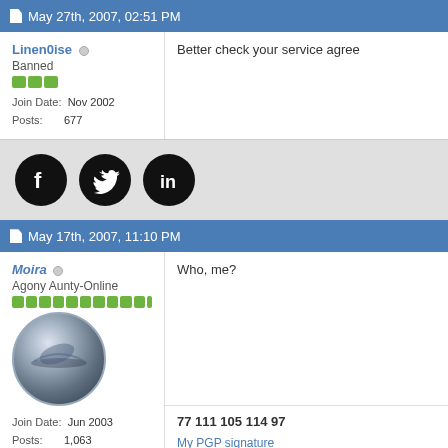May 27th, 2007, 02:51 PM
Linen0ise — Banned
Join Date: Nov 2002
Posts: 677
Better check your service agree
[Figure (other): Social media icons: Facebook, Twitter, LinkedIn]
May 17th, 2007, 11:10 PM
Moira — Agony Aunty-Online
Join Date: Jun 2003
Posts: 1,063
Who, me?
[Figure (photo): User avatar: circular metallic globe/planet icon with silver gradient]
77 111 105 114 97
My PGP signature
[Figure (other): Bottom social media icons (partial view)]